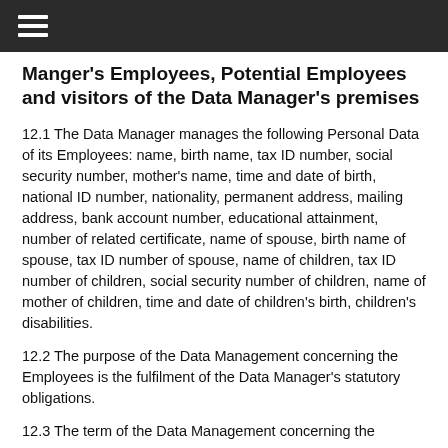≡
Manger's Employees, Potential Employees and visitors of the Data Manager's premises
12.1 The Data Manager manages the following Personal Data of its Employees: name, birth name, tax ID number, social security number, mother's name, time and date of birth, national ID number, nationality, permanent address, mailing address, bank account number, educational attainment, number of related certificate, name of spouse, birth name of spouse, tax ID number of spouse, name of children, tax ID number of children, social security number of children, name of mother of children, time and date of children's birth, children's disabilities.
12.2 The purpose of the Data Management concerning the Employees is the fulfilment of the Data Manager's statutory obligations.
12.3 The term of the Data Management concerning the